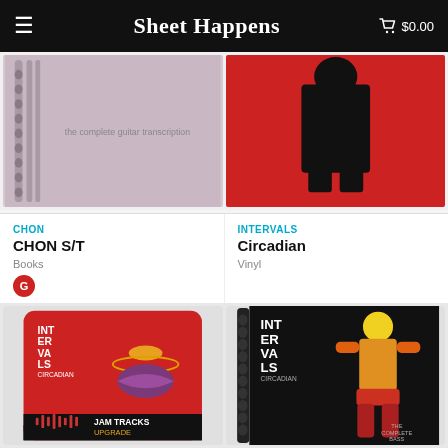Sheet Happens | $0.00
[Figure (photo): CHON S/T spiral-bound book cover, light purple/pink color with text 'the complete guitar transcription']
[Figure (photo): Intervals Circadian vinyl cover, red with black silhouette figure]
CHON
CHON S/T
Books
INTERVALS
Circadian
Vinyl
[Figure (photo): Intervals Circadian Jam Tracks Upgrade card — red card with illustrated cosmic figure and 'JAM TRACKS UPGRADE' text at bottom]
[Figure (photo): Intervals Circadian complete bass transcription spiral-bound book — black cover with colorful human figure silhouette made of text/letters]